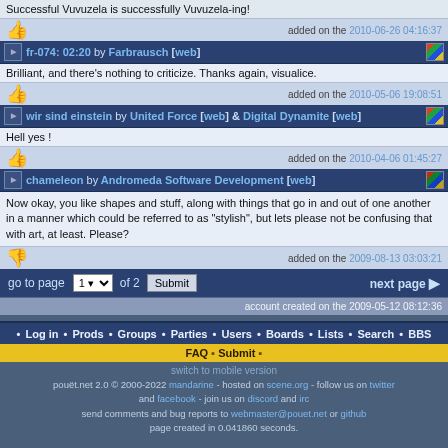Successful Vuvuzela is successfully Vuvuzela-ing!
added on the 2010-06-26 04:16:37
fr-074: 02:20 by Farbrausch [web]
Brilliant, and there's nothing to criticize. Thanks again, visualice.
added on the 2010-05-06 19:08:51
wir sind einstein by United Force [web] & Digital Dynamite [web]
Hell yes !
added on the 2010-04-06 01:45:27
chameleon by Andromeda Software Development [web]
Now okay, you like shapes and stuff, along with things that go in and out of one another in a manner which could be referred to as "stylish", but lets please not be confusing that with art, at least. Please?
added on the 2009-08-13 03:03:21
go to page 1 of 2 Submit    next page
account created on the 2009-05-12 08:12:36
Log in • Prods • Groups • Parties • Users • Boards • Lists • Search • BBS
FAQ • Submit •
switch to mobile version
pouët.net 2.0 © 2000-2022 mandarine - hosted on scene.org - follow us on twitter and facebook - join us on discord and irc send comments and bug reports to webmaster@pouet.net or github page created in 0.041860 seconds.